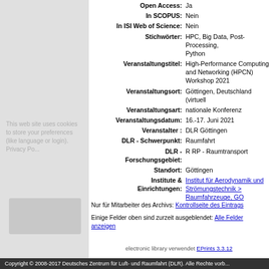Open Access: Ja
In SCOPUS: Nein
In ISI Web of Science: Nein
Stichwörter: HPC, Big Data, Post-Processing, Python
Veranstaltungstitel: High-Performance Computing and Networking (HPCN) Workshop 2021
Veranstaltungsort: Göttingen, Deutschland (virtuell)
Veranstaltungsart: nationale Konferenz
Veranstaltungsdatum: 16.-17. Juni 2021
Veranstalter : DLR Göttingen
DLR - Schwerpunkt: Raumfahrt
DLR - Forschungsgebiet: R RP - Raumtransport
Standort: Göttingen
Institute & Einrichtungen: Institut für Aerodynamik und Strömungstechnik > Raumfahrzeuge, GO
Nur für Mitarbeiter des Archivs: Kontrollseite des Eintrags
Einige Felder oben sind zurzeit ausgeblendet: Alle Felder anzeigen
electronic library verwendet EPrints 3.3.12
Copyright © 2008-2017 Deutsches Zentrum für Luft- und Raumfahrt (DLR). Alle Rechte vorbehalten.